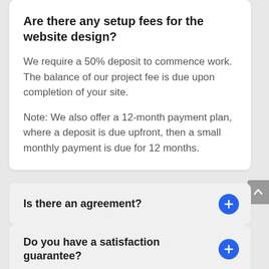Are there any setup fees for the website design?
We require a 50% deposit to commence work. The balance of our project fee is due upon completion of your site.
Note: We also offer a 12-month payment plan, where a deposit is due upfront, then a small monthly payment is due for 12 months.
Is there an agreement?
Do you have a satisfaction guarantee?